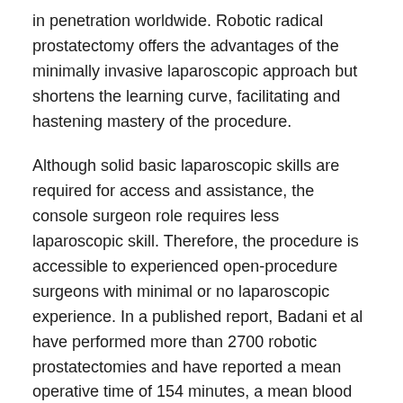in penetration worldwide. Robotic radical prostatectomy offers the advantages of the minimally invasive laparoscopic approach but shortens the learning curve, facilitating and hastening mastery of the procedure.
Although solid basic laparoscopic skills are required for access and assistance, the console surgeon role requires less laparoscopic skill. Therefore, the procedure is accessible to experienced open-procedure surgeons with minimal or no laparoscopic experience. In a published report, Badani et al have performed more than 2700 robotic prostatectomies and have reported a mean operative time of 154 minutes, a mean blood loss of 100 mL, and hospital stays of less than 24 hours in 96.7% of patients.
The following image provides a portion of a minimally invasive radical prostatectomy.